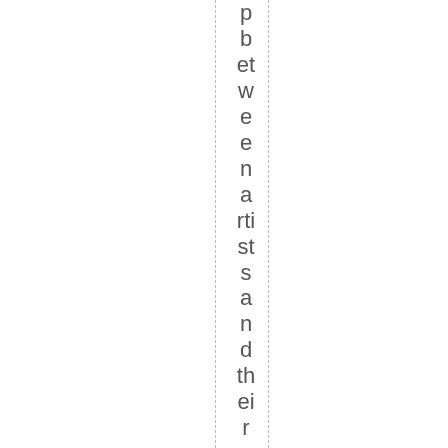p b et w e e n a rti st s a n d th ei r c u rr e nt o r fo